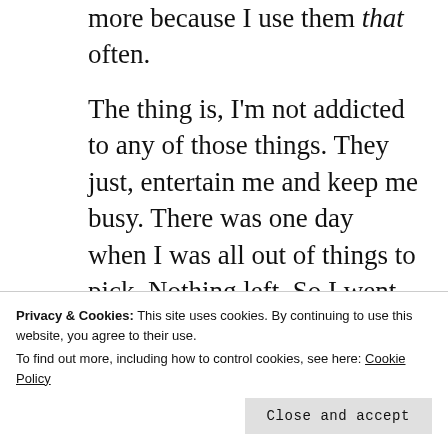…I never run out of Q-tips any more because I use them that often.
The thing is, I'm not addicted to any of those things. They just, entertain me and keep me busy. There was one day when I was all out of things to pick. Nothing left. So I went on YouTube and watched a video compilation of people popping pimples. I WATCHED STRANGERS POP ZITS. I love seeing puss being drained out. I…
Privacy & Cookies: This site uses cookies. By continuing to use this website, you agree to their use.
To find out more, including how to control cookies, see here: Cookie Policy
…it's written out, it's actually really…